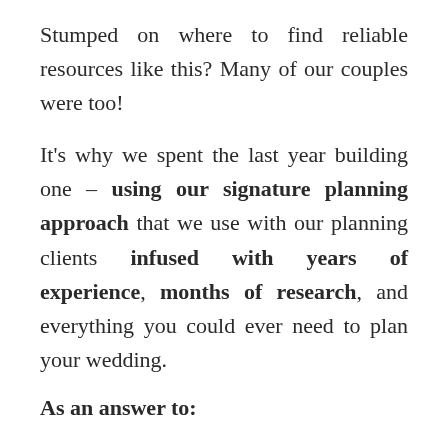Stumped on where to find reliable resources like this? Many of our couples were too!

It's why we spent the last year building one – using our signature planning approach that we use with our planning clients infused with years of experience, months of research, and everything you could ever need to plan your wedding.
As an answer to: